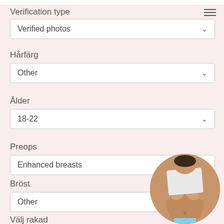Verification type
Verified photos
Hårfärg
Other
Ålder
18-22
Preops
Enhanced breasts
Bröst
Other
Välj rakad
[Figure (photo): Circular cropped photo of a person]